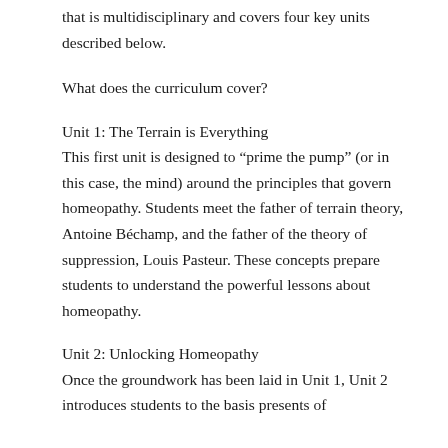that is multidisciplinary and covers four key units described below.
What does the curriculum cover?
Unit 1: The Terrain is Everything
This first unit is designed to “prime the pump” (or in this case, the mind) around the principles that govern homeopathy. Students meet the father of terrain theory, Antoine Béchamp, and the father of the theory of suppression, Louis Pasteur. These concepts prepare students to understand the powerful lessons about homeopathy.
Unit 2: Unlocking Homeopathy
Once the groundwork has been laid in Unit 1, Unit 2 introduces students to the basis presents of